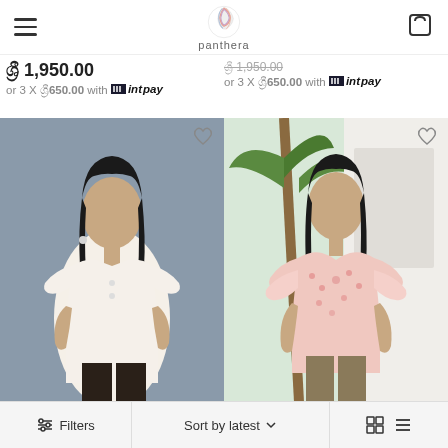panthera
ශ්‍රී 1,950.00
or 3 X ශ්‍රී650.00 with intpay
ශ්‍රී 1,950.00
or 3 X ශ්‍රී650.00 with intpay
[Figure (photo): Woman in cream/off-white flutter sleeve top, dark hair, grey background]
[Figure (photo): Woman in floral pink flutter sleeve top, dark hair, tropical plant background]
Filters   Sort by latest   (grid view icons)